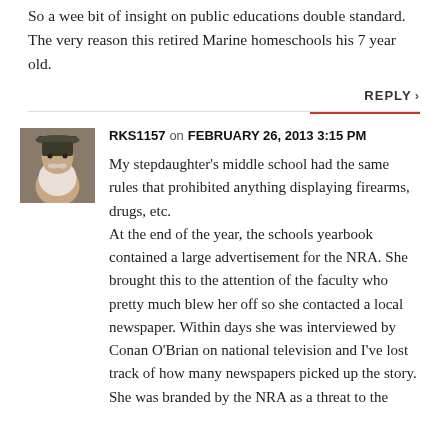So a wee bit of insight on public educations double standard. The very reason this retired Marine homeschools his 7 year old.
REPLY ›
RKS1157 on FEBRUARY 26, 2013 3:15 PM
My stepdaughter's middle school had the same rules that prohibited anything displaying firearms, drugs, etc. At the end of the year, the schools yearbook contained a large advertisement for the NRA. She brought this to the attention of the faculty who pretty much blew her off so she contacted a local newspaper. Within days she was interviewed by Conan O'Brian on national television and I've lost track of how many newspapers picked up the story. She was branded by the NRA as a threat to the